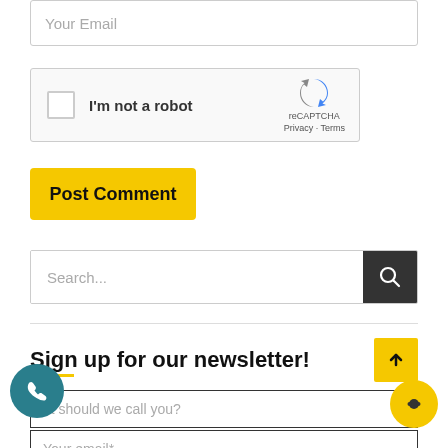Your Email
[Figure (other): reCAPTCHA widget with checkbox, 'I'm not a robot' label, and reCAPTCHA logo with Privacy and Terms links]
Post Comment
Search...
Sign up for our newsletter!
at should we call you?
Your email*